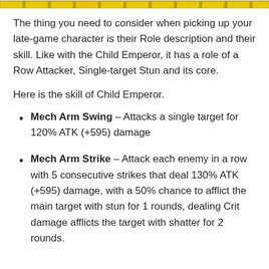[decorative header bar]
The thing you need to consider when picking up your late-game character is their Role description and their skill. Like with the Child Emperor, it has a role of a Row Attacker, Single-target Stun and its core.
Here is the skill of Child Emperor.
Mech Arm Swing – Attacks a single target for 120% ATK (+595) damage
Mech Arm Strike – Attack each enemy in a row with 5 consecutive strikes that deal 130% ATK (+595) damage, with a 50% chance to afflict the main target with stun for 1 rounds, dealing Crit damage afflicts the target with shatter for 2 rounds.